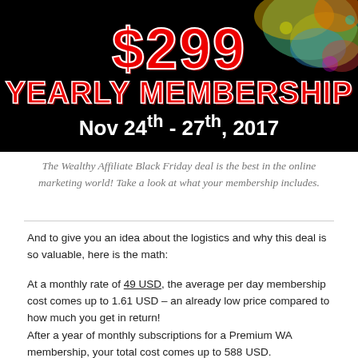[Figure (illustration): Black background banner with colorful paint splash in top-right corner showing '$299 YEARLY MEMBERSHIP Nov 24th - 27th, 2017' text]
The Wealthy Affiliate Black Friday deal is the best in the online marketing world! Take a look at what your membership includes.
And to give you an idea about the logistics and why this deal is so valuable, here is the math:
At a monthly rate of 49 USD, the average per day membership cost comes up to 1.61 USD – an already low price compared to how much you get in return!
After a year of monthly subscriptions for a Premium WA membership, your total cost comes up to 588 USD.